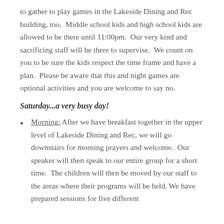to gather to play games in the Lakeside Dining and Rec building, too.  Middle school kids and high school kids are allowed to be there until 11:00pm.  Our very kind and sacrificing staff will be there to supervise.  We count on you to be sure the kids respect the time frame and have a plan.  Please be aware that this and night games are optional activities and you are welcome to say no.
Saturday...a very busy day!
Morning: After we have breakfast together in the upper level of Lakeside Dining and Rec, we will go downstairs for morning prayers and welcome.  Our speaker will then speak to our entire group for a short time.  The children will then be moved by our staff to the areas where their programs will be held. We have prepared sessions for five different